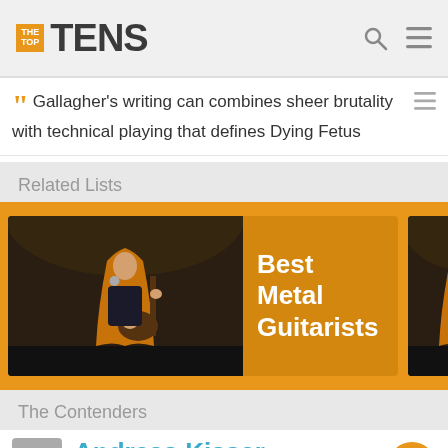THE TOP TENS
Gallagher's writing can combines sheer brutality with technical playing that defines Dying Fetus
Related Lists
[Figure (screenshot): Card showing Best Metal Guitarists list with a guitarist image on the left and text on the right, on an orange/amber background. A second partial card is visible on the right edge.]
The Contenders
11 Andreas Kisser (Sepultura) — Vote